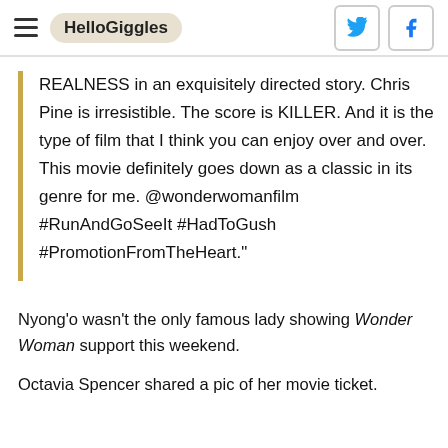HelloGiggles
REALNESS in an exquisitely directed story. Chris Pine is irresistible. The score is KILLER. And it is the type of film that I think you can enjoy over and over. This movie definitely goes down as a classic in its genre for me. @wonderwomanfilm #RunAndGoSeeIt #HadToGush #PromotionFromTheHeart."
Nyong’o wasn’t the only famous lady showing Wonder Woman support this weekend.
Octavia Spencer shared a pic of her movie ticket.